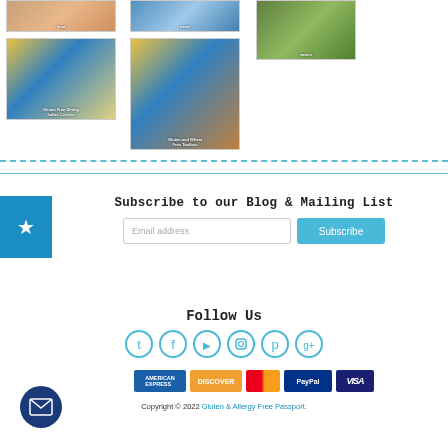[Figure (photo): Thumbnail image of food]
[Figure (photo): Thumbnail image of travel/city]
[Figure (photo): Thumbnail image of nature/garden]
[Figure (photo): Thumbnail of Gluten Free Dining guide booklet]
[Figure (photo): Thumbnail of Gluten and Wheat Free Toolbox guide with city night photo]
Subscribe to our Blog & Mailing List
Email address
Subscribe
Follow Us
[Figure (infographic): Social media icons: Twitter, Facebook, YouTube, Instagram, Pinterest, Google+]
[Figure (infographic): Payment method icons: American Express, Discover, Mastercard, PayPal, Visa]
Copyright © 2022 Gluten & Allergy Free Passport.